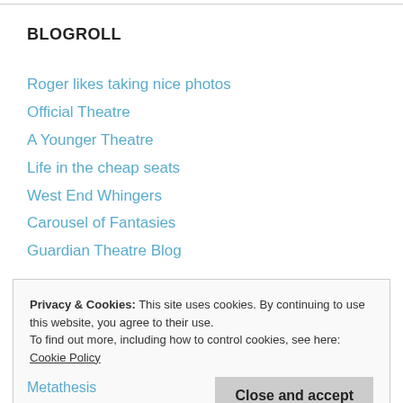BLOGROLL
Roger likes taking nice photos
Official Theatre
A Younger Theatre
Life in the cheap seats
West End Whingers
Carousel of Fantasies
Guardian Theatre Blog
Privacy & Cookies: This site uses cookies. By continuing to use this website, you agree to their use.
To find out more, including how to control cookies, see here: Cookie Policy
Close and accept
Metathesis